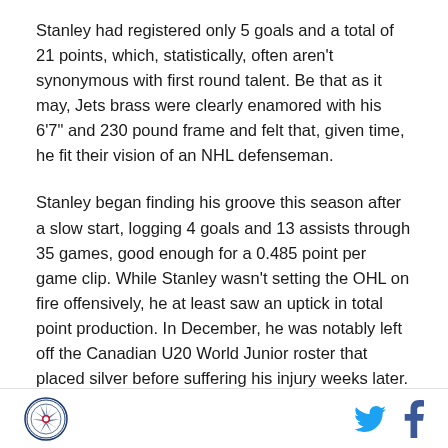Stanley had registered only 5 goals and a total of 21 points, which, statistically, often aren't synonymous with first round talent. Be that as it may, Jets brass were clearly enamored with his 6'7" and 230 pound frame and felt that, given time, he fit their vision of an NHL defenseman.
Stanley began finding his groove this season after a slow start, logging 4 goals and 13 assists through 35 games, good enough for a 0.485 point per game clip. While Stanley wasn't setting the OHL on fire offensively, he at least saw an uptick in total point production. In December, he was notably left off the Canadian U20 World Junior roster that placed silver before suffering his injury weeks later.